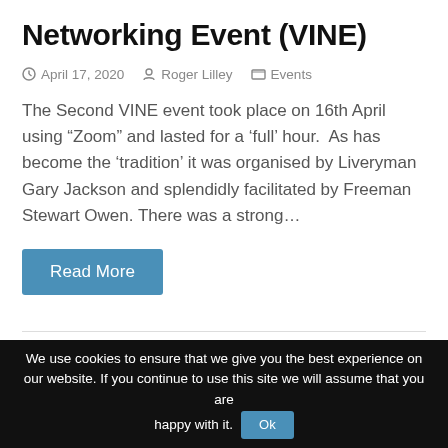Networking Event (VINE)
April 17, 2020   Roger Lilley   Events
The Second VINE event took place on 16th April using “Zoom” and lasted for a ‘full’ hour.  As has become the ‘tradition’ it was organised by Liveryman Gary Jackson and splendidly facilitated by Freeman Stewart Owen. There was a strong…
Read More
We use cookies to ensure that we give you the best experience on our website. If you continue to use this site we will assume that you are happy with it.  Ok